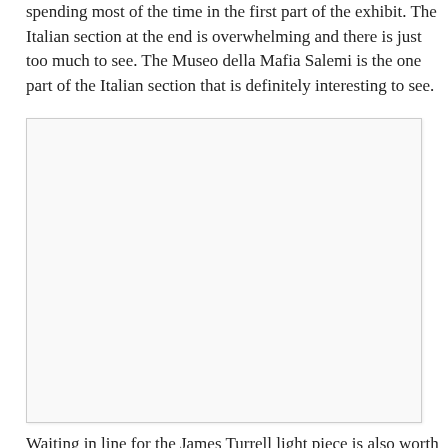spending most of the time in the first part of the exhibit.  The Italian section at the end is overwhelming and there is just too much to see.  The Museo della Mafia Salemi is the one part of the Italian section that is definitely interesting to see.
[Figure (photo): A blank/white rectangular image placeholder with a light border]
Waiting in line for the James Turrell light piece is also worth it